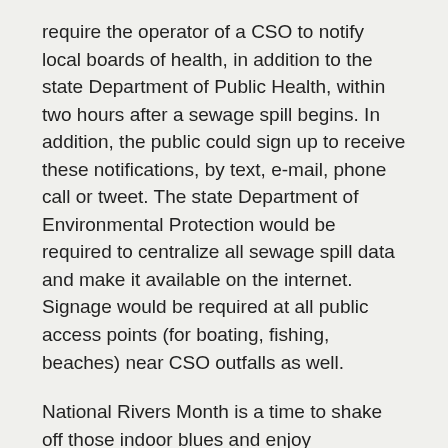require the operator of a CSO to notify local boards of health, in addition to the state Department of Public Health, within two hours after a sewage spill begins. In addition, the public could sign up to receive these notifications, by text, e-mail, phone call or tweet. The state Department of Environmental Protection would be required to centralize all sewage spill data and make it available on the internet.  Signage would be required at all public access points (for boating, fishing, beaches) near CSO outfalls as well.
National Rivers Month is a time to shake off those indoor blues and enjoy Massachusetts'
bounty of rivers. Whether you go to look for great blue herons, to fish for trout, to take your family and the dog on an afternoon paddling adventure, or simply to seek calm and quiet, our state's rivers are